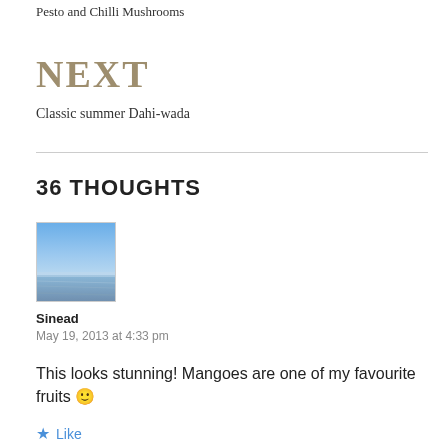Pesto and Chilli Mushrooms
NEXT
Classic summer Dahi-wada
36 THOUGHTS
[Figure (photo): Avatar image showing a blue sky and ocean horizon]
Sinead
May 19, 2013 at 4:33 pm
This looks stunning! Mangoes are one of my favourite fruits 🙂
Like